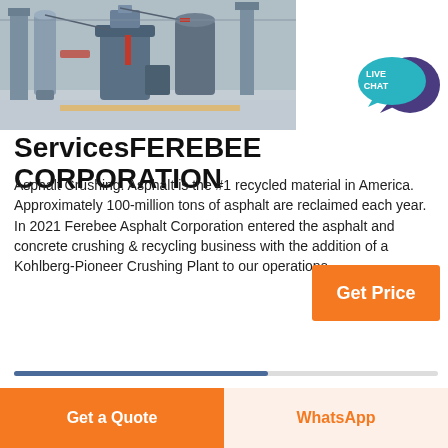[Figure (photo): Industrial machinery/crushing plant equipment inside a large warehouse facility]
[Figure (illustration): Live Chat speech bubble badge with teal and purple colors]
ServicesFEREBEE CORPORATION
Asphalt Crushing. Asphalt is the #1 recycled material in America. Approximately 100-million tons of asphalt are reclaimed each year. In 2021 Ferebee Asphalt Corporation entered the asphalt and concrete crushing & recycling business with the addition of a Kohlberg-Pioneer Crushing Plant to our operations.
Get Price
Get a Quote
WhatsApp